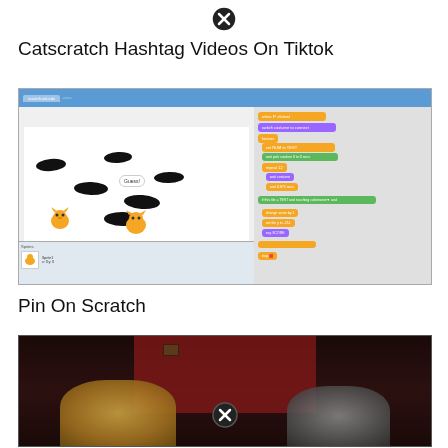[Figure (screenshot): Close/X button icon at top center of page]
Catscratch Hashtag Videos On Tiktok
[Figure (screenshot): Screenshot of Scratch programming environment showing a cat game with mole holes, Scratch blocks code on the right side, browser URL bar showing scratch.mit.edu]
Pin On Scratch
[Figure (screenshot): Screenshot of a dark video, appearing to show a person or people, with a close/X button icon at the bottom center]